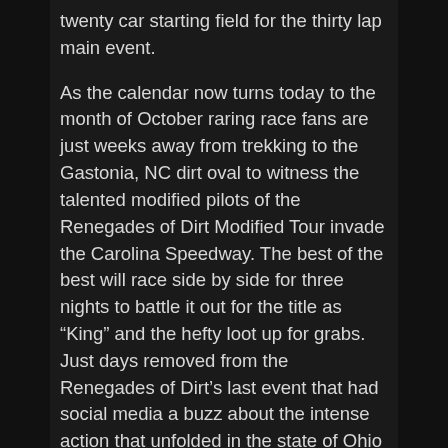twenty car starting field for the thirty lap main event.
As the calendar now turns today to the month of October raring race fans are just weeks away from trekking to the Gastonia, NC dirt oval to witness the talented modified pilots of the Renegades of Dirt Modified Tour invade the Carolina Speedway. The best of the best will race side by side for three nights to battle it out for the title as “King” and the hefty loot up for grabs. Just days removed from the Renegades of Dirt’s last event that had social media a buzz about the intense action that unfolded in the state of Ohio over the weekend the level of anticipation for the tours first trip into North Carolina